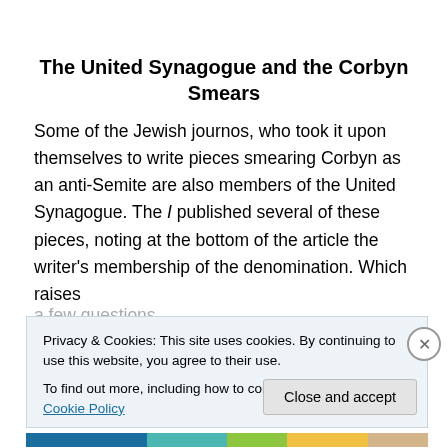The United Synagogue and the Corbyn Smears
Some of the Jewish journos, who took it upon themselves to write pieces smearing Corbyn as an anti-Semite are also members of the United Synagogue. The I published several of these pieces, noting at the bottom of the article the writer's membership of the denomination. Which raises a few questions
Privacy & Cookies: This site uses cookies. By continuing to use this website, you agree to their use.
To find out more, including how to control cookies, see here: Cookie Policy
Close and accept